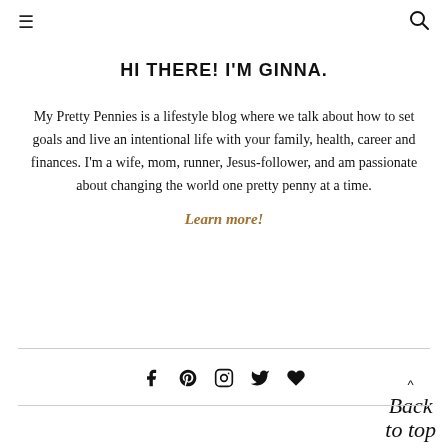☰  🔍
HI THERE! I'M GINNA.
My Pretty Pennies is a lifestyle blog where we talk about how to set goals and live an intentional life with your family, health, career and finances. I'm a wife, mom, runner, Jesus-follower, and am passionate about changing the world one pretty penny at a time.
Learn more!
[Figure (infographic): Social media icons: Facebook, Pinterest, Instagram, Twitter, Bloglovin heart]
Back to top